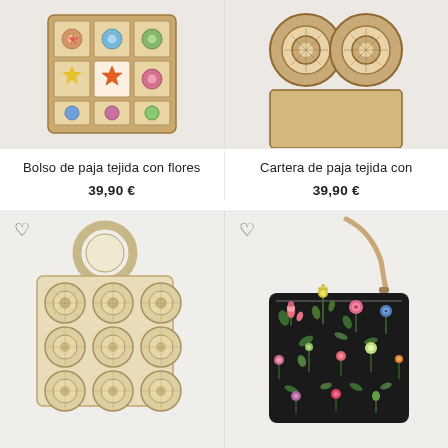[Figure (photo): Crochet patchwork bag with colorful floral granny squares pattern in beige, pink, blue, green tones]
[Figure (photo): Round woven straw clutch bag, top portion visible]
Bolso de paja tejida con flores
39,90 €
Cartera de paja tejida con
39,90 €
[Figure (photo): Cream woven straw tote bag with circular ring handles and circular disc woven pattern on front]
[Figure (photo): Black floral print shoulder bag with beige leather strap, botanical flower print on dark background]